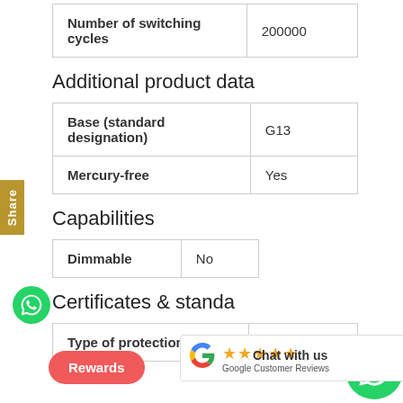| Property | Value |
| --- | --- |
| Number of switching cycles | 200000 |
Additional product data
| Property | Value |
| --- | --- |
| Base (standard designation) | G13 |
| Mercury-free | Yes |
Capabilities
| Property | Value |
| --- | --- |
| Dimmable | No |
Certificates & standa
| Property | Value |
| --- | --- |
| Type of protection | IP20 |